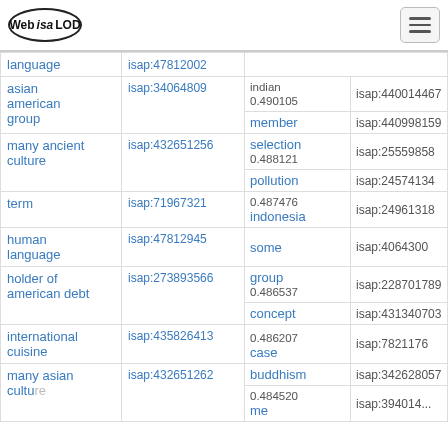Web isa LOD
| concept | isap | score/word | isap |
| --- | --- | --- | --- |
| language | isap:47812002 | 0.490105 indian / member | isap:440014467 / isap:440998159 |
| asian american group | isap:34064809 | 0.488121 selection / pollution | isap:25559858 / isap:24574134 |
| many ancient culture | isap:432651256 | 0.487476 indonesia | isap:24961318 |
| term | isap:71967321 | some | isap:4064300 |
| human language | isap:47812945 | 0.486537 group / concept | isap:228701789 / isap:431340703 |
| holder of american debt | isap:273893566 | 0.486207 case | isap:7821176 |
| international cuisine | isap:435826413 | buddhism | isap:342628057 |
| many asian culture | isap:432651262 | 0.484520 me | isap:394014...] |